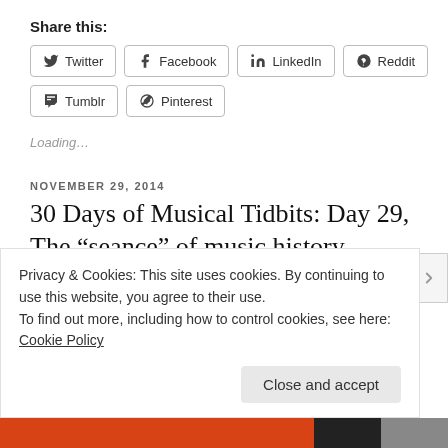Share this:
Twitter
Facebook
LinkedIn
Reddit
Tumblr
Pinterest
Loading…
NOVEMBER 29, 2014
30 Days of Musical Tidbits: Day 29, The “seance” of music history
A TLS review of a new music book caught my eye, as it
Privacy & Cookies: This site uses cookies. By continuing to use this website, you agree to their use.
To find out more, including how to control cookies, see here: Cookie Policy
Close and accept